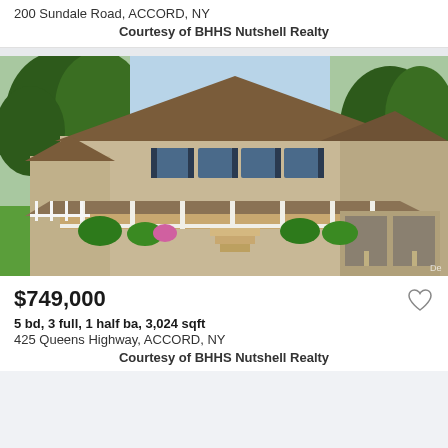200 Sundale Road, ACCORD, NY
Courtesy of BHHS Nutshell Realty
[Figure (photo): Two-story colonial-style house with wrap-around porch, two-car garage, surrounded by green lawn and trees in summer]
$749,000
5 bd, 3 full, 1 half ba, 3,024 sqft
425 Queens Highway, ACCORD, NY
Courtesy of BHHS Nutshell Realty